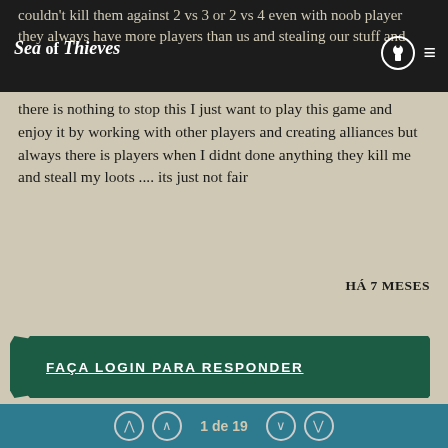Sea of Thieves
couldn't kill them against 2 vs 3 or 2 vs 4 even with noob player they always have more players than us and stealing our stuff and there is nothing to stop this I just want to play this game and enjoy it by working with other players and creating alliances but always there is players when I didnt done anything they kill me and steall my loots .... its just not fair
HÁ 7 MESES
FAÇA LOGIN PARA RESPONDER
feedback 3.0k   general 2.0k
community 1.7k
1 de 19